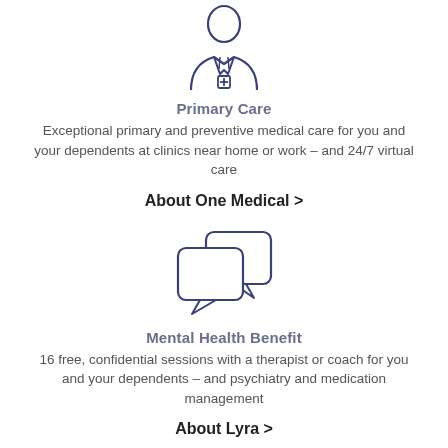[Figure (illustration): Line-art icon of a doctor/medical professional wearing a coat with a cross symbol on the chest, shown from shoulders up]
Primary Care
Exceptional primary and preventive medical care for you and your dependents at clinics near home or work – and 24/7 virtual care
About One Medical >
[Figure (illustration): Line-art icon of two overlapping speech/chat bubbles]
Mental Health Benefit
16 free, confidential sessions with a therapist or coach for you and your dependents – and psychiatry and medication management
About Lyra >